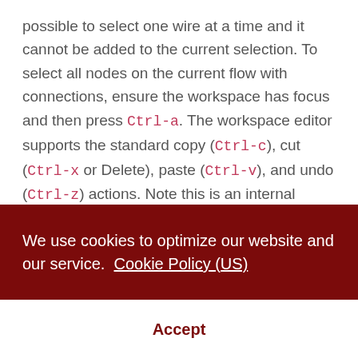possible to select one wire at a time and it cannot be added to the current selection. To select all nodes on the current flow with connections, ensure the workspace has focus and then press Ctrl-a. The workspace editor supports the standard copy (Ctrl-c), cut (Ctrl-x or Delete), paste (Ctrl-v), and undo (Ctrl-z) actions. Note this is an internal clipboard, not the host OS's clipboard.
We use cookies to optimize our website and our service. Cookie Policy (US)
Accept
select a node from a drop-down list as an